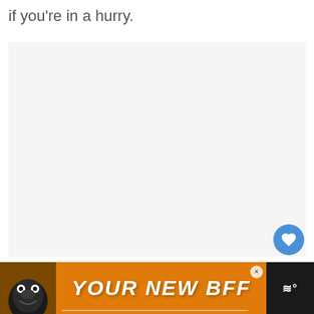if you're in a hurry.
[Figure (other): Large light gray content area placeholder]
[Figure (other): Blue circular like/heart button]
[Figure (other): White circular share button with share icon]
[Figure (other): What's Next panel with thumbnail and text 'Exactly How To Reheat...']
[Figure (other): Advertisement banner: black background with orange section showing dog and text YOUR NEW BFF with close button and logo]